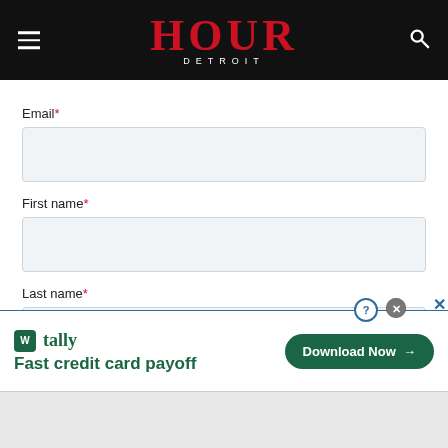HOUR DETROIT
Email*
First name*
Last name*
[Figure (screenshot): Tally advertisement banner: 'Fast credit card payoff' with Download Now button]